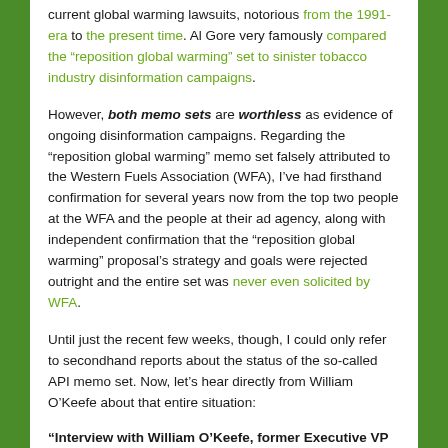current global warming lawsuits, notorious from the 1991-era to the present time. Al Gore very famously compared the “reposition global warming” set to sinister tobacco industry disinformation campaigns.
However, both memo sets are worthless as evidence of ongoing disinformation campaigns. Regarding the “reposition global warming” memo set falsely attributed to the Western Fuels Association (WFA), I’ve had firsthand confirmation for several years now from the top two people at the WFA and the people at their ad agency, along with independent confirmation that the “reposition global warming” proposal’s strategy and goals were rejected outright and the entire set was never even solicited by WFA.
Until just the recent few weeks, though, I could only refer to secondhand reports about the status of the so-called API memo set. Now, let’s hear directly from William O’Keefe about that entire situation:
“Interview with William O’Keefe, former Executive VP